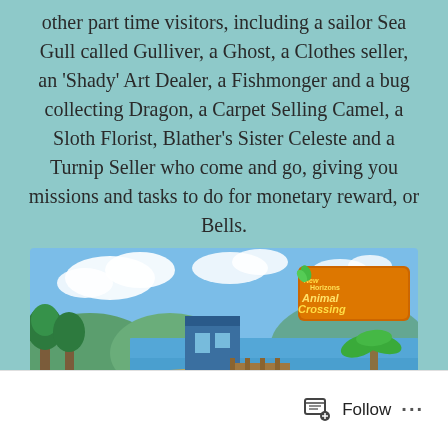other part time visitors, including a sailor Sea Gull called Gulliver, a Ghost, a Clothes seller, an 'Shady' Art Dealer, a Fishmonger and a bug collecting Dragon, a Carpet Selling Camel, a Sloth Florist, Blather's Sister Celeste and a Turnip Seller who come and go, giving you missions and tasks to do for monetary reward, or Bells.
[Figure (screenshot): Animal Crossing: New Horizons promotional game art showing colorful island scene with various animal characters, tents, a dock, ocean, and the Animal Crossing New Horizons logo in the top right corner.]
Follow ...